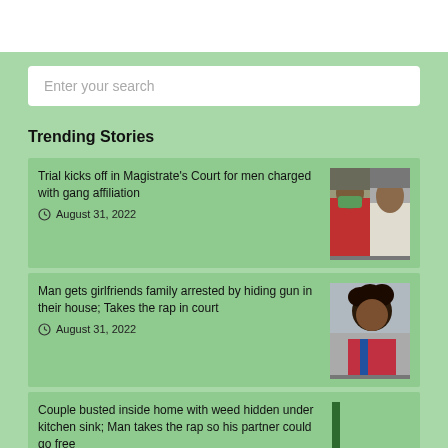Trending Stories
Trial kicks off in Magistrate's Court for men charged with gang affiliation
August 31, 2022
Man gets girlfriends family arrested by hiding gun in their house; Takes the rap in court
August 31, 2022
Couple busted inside home with weed hidden under kitchen sink; Man takes the rap so his partner could go free
August 31, 2022